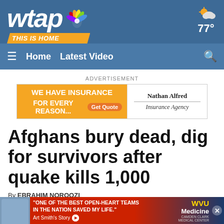[Figure (logo): WTAP NBC News logo with peacock symbol and 'THIS IS HOME' tagline, on blue background. Weather widget showing partly cloudy icon and 77°.]
≡  Home  Latest Video  🔍
ADVERTISEMENT
[Figure (screenshot): Advertisement banner: 'WE HAVE INSURANCE FOR EVERY REASON... Get Quote' on orange background, with Nathan Alfred Insurance Agency on white right side.]
Afghans bury dead, dig for survivors after quake kills 1,000
By EBRAHIM NOROOZI
Published
Updated
[Figure (screenshot): Bottom advertisement overlay: 'ONE OF THE BEST OPEN-HEART TEAMS IN THE NATION SAVED MY LIFE.' Art Smith's Story, with WVU Medicine logo on dark red/navy background. Close button on right.]